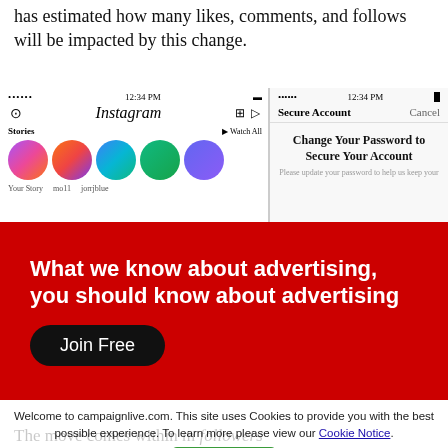has estimated how many likes, comments, and follows will be impacted by this change.
[Figure (screenshot): Two mobile screenshots side by side: left shows Instagram app home screen with Stories row and circular avatar photos; right shows a 'Secure Account' screen prompting to Change Your Password to Secure Your Account.]
[Figure (infographic): Red advertisement banner reading 'What we know about advertising, you should know about advertising' with a 'Join Free' black pill button.]
Welcome to campaignlive.com. This site uses Cookies to provide you with the best possible experience. To learn more please view our Cookie Notice.
The move comes within m followers